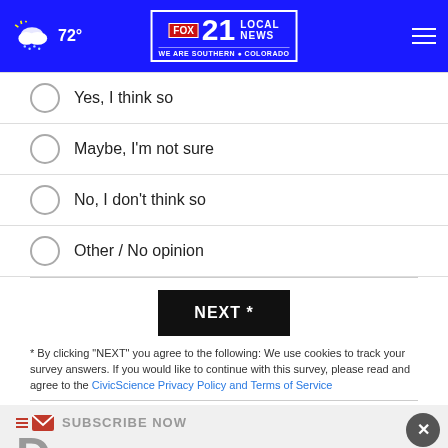FOX 21 LOCAL NEWS - WE ARE SOUTHERN COLORADO | 72°
Yes, I think so
Maybe, I'm not sure
No, I don't think so
Other / No opinion
NEXT *
* By clicking "NEXT" you agree to the following: We use cookies to track your survey answers. If you would like to continue with this survey, please read and agree to the CivicScience Privacy Policy and Terms of Service
SUBSCRIBE NOW
[Figure (screenshot): Ad banner for THESHELTERPETPROJECT.ORG with small icons]